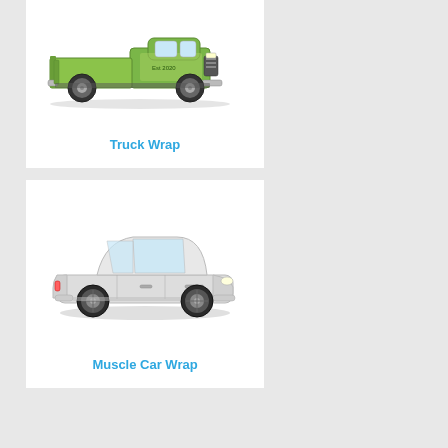[Figure (illustration): Side view of a green/yellow pickup truck with vehicle wrap graphics and text on the side, including 'Est 2020'.]
Truck Wrap
[Figure (illustration): Side view of a silver/white Chevrolet Camaro muscle car.]
Muscle Car Wrap